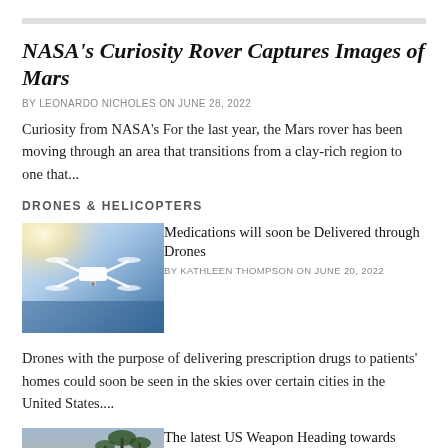NASA's Curiosity Rover Captures Images of Mars
BY LEONARDO NICHOLES ON JUNE 28, 2022
Curiosity from NASA's For the last year, the Mars rover has been moving through an area that transitions from a clay-rich region to one that...
DRONES & HELICOPTERS
[Figure (photo): White drone flying against blue sky and sunlit water background]
Medications will soon be Delivered through Drones
BY KATHLEEN THOMPSON ON JUNE 20, 2022
Drones with the purpose of delivering prescription drugs to patients' homes could soon be seen in the skies over certain cities in the United States....
[Figure (photo): Military weapon or vehicle with palm trees in background]
The latest US Weapon Heading towards Ukraine